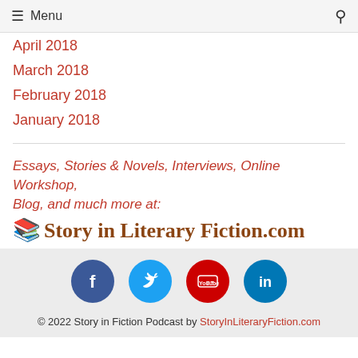Menu
April 2018
March 2018
February 2018
January 2018
Essays, Stories & Novels, Interviews, Online Workshop, Blog, and much more at: Story in Literary Fiction.com
© 2022 Story in Fiction Podcast by StoryInLiteraryFiction.com